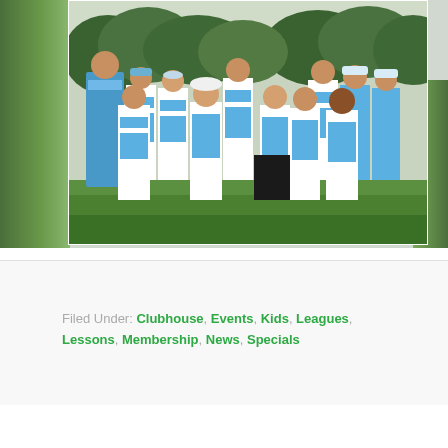[Figure (photo): Group photo of youth golf team wearing matching blue and white striped polo shirts with a coach/adult on a golf course green. Approximately 11-12 children and one adult posing together outdoors with trees in the background.]
Filed Under: Clubhouse, Events, Kids, Leagues, Lessons, Membership, News, Specials